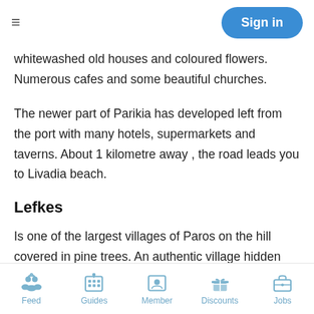≡  Sign in
whitewashed old houses and coloured flowers. Numerous cafes and some beautiful churches.
The newer part of Parikia has developed left from the port with many hotels, supermarkets and taverns. About 1 kilometre away , the road leads you to Livadia beach.
Lefkes
Is one of the largest villages of Paros on the hill covered in pine trees. An authentic village hidden between the mountains, perfect for escaping the touristic areas. It's worth spending some time wandering the alleys with its white houses, narrow pedestrian streets, and the Venetian architecture. Explore the village which offers you the
Feed  Guides  Member  Discounts  Jobs